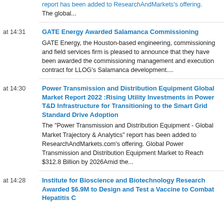report has been added to ResearchAndMarkets's offering. The global...
at 14:31
GATE Energy Awarded Salamanca Commissioning
GATE Energy, the Houston-based engineering, commissioning and field services firm is pleased to announce that they have been awarded the commissioning management and execution contract for LLOG's Salamanca development....
at 14:30
Power Transmission and Distribution Equipment Global Market Report 2022 :Rising Utility Investments in Power T&D Infrastructure for Transitioning to the Smart Grid Standard Drive Adoption
The "Power Transmission and Distribution Equipment - Global Market Trajectory & Analytics" report has been added to ResearchAndMarkets.com's offering. Global Power Transmission and Distribution Equipment Market to Reach $312.8 Billion by 2026Amid the...
at 14:28
Institute for Bioscience and Biotechnology Research Awarded $6.9M to Design and Test a Vaccine to Combat Hepatitis C